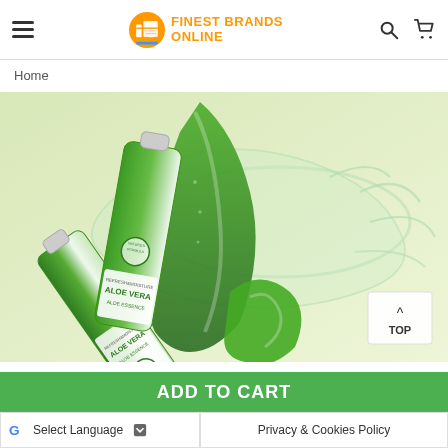Finest Brands Online — navigation header with hamburger menu, logo, search and cart icons
Home
[Figure (photo): Product promotional image showing Aloe Vera tubes/squeeze bottles with aloe vera plant leaves and water splashes on a light green background. Text on product: REFRESH&MOISTURE ALOE VERA ALOE ESSENCE]
TOP
ADD TO CART
Select Language
Privacy & Cookies Policy